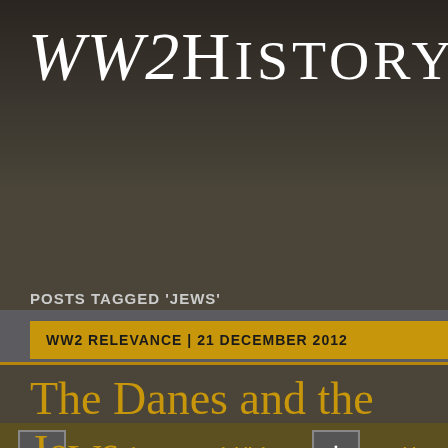WW2History.com
[Figure (screenshot): Navigation bar with links: Home, Videos, Testimony, Key Moments, Experts]
[Figure (screenshot): Highlight bar with + button, WW2History.com Highlights, + button, World War]
POSTS TAGGED 'JEWS'
WW2 RELEVANCE | 21 DECEMBER 2012
The Danes and the Jews